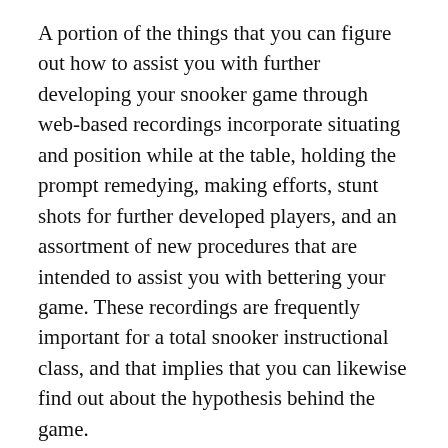A portion of the things that you can figure out how to assist you with further developing your snooker game through web-based recordings incorporate situating and position while at the table, holding the prompt remedying, making efforts, stunt shots for further developed players, and an assortment of new procedures that are intended to assist you with bettering your game. These recordings are frequently important for a total snooker instructional class, and that implies that you can likewise find out about the hypothesis behind the game.
When you have a sure outlook on evaluating the new strategies and tips that you have